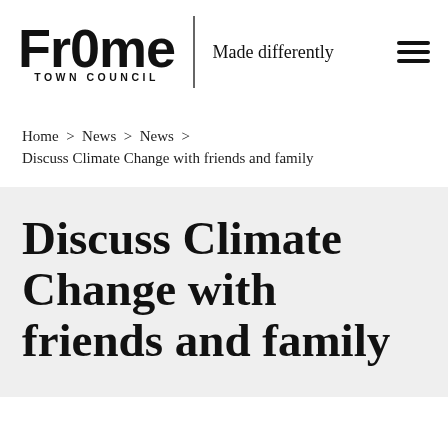[Figure (logo): FrOme Town Council logo with tagline 'Made differently' and hamburger menu icon]
Home > News > News > Discuss Climate Change with friends and family
Discuss Climate Change with friends and family